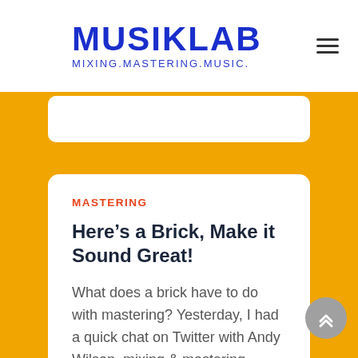MUSIKLAB MIXING.MASTERING.MUSIC.
MASTERING
Here’s a Brick, Make it Sound Great!
What does a brick have to do with mastering? Yesterday, I had a quick chat on Twitter with Andy Wilson, mixing & mastering engineer at Masterdisk in NYC, about how I’d asked for new mixes...